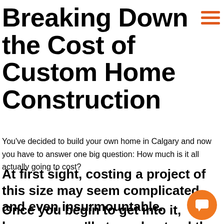Breaking Down the Cost of Custom Home Construction
You've decided to build your own home in Calgary and now you have to answer one big question: How much is it all actually going to cost?
At first sight, costing a project of this size may seem complicated and even insurmountable.
Once you begin to get into it, however, you'll sta understand the difference between hard and soft costs,